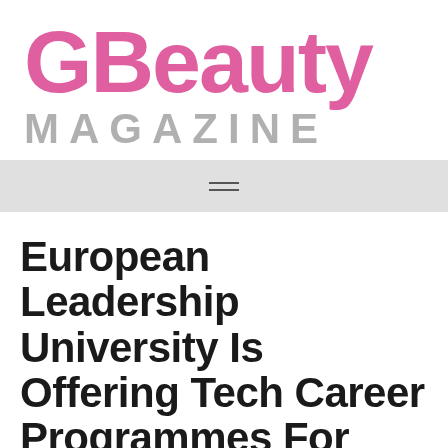GBeauty MAGAZINE
[Figure (other): Navigation menu bar with hamburger icon (three horizontal lines)]
European Leadership University Is Offering Tech Career Programmes For Women In Collaboration